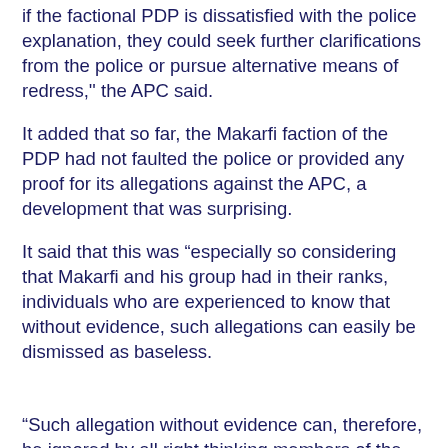if the factional PDP is dissatisfied with the police explanation, they could seek further clarifications from the police or pursue alternative means of redress,'' the APC said.
It added that so far, the Makarfi faction of the PDP had not faulted the police or provided any proof for its allegations against the APC, a development that was surprising.
It said that this was “especially so considering that Makarfi and his group had in their ranks, individuals who are experienced to know that without evidence, such allegations can easily be dismissed as baseless.
“Such allegation without evidence can, therefore, be ignored by all right thinking members of the public, including the APC.”